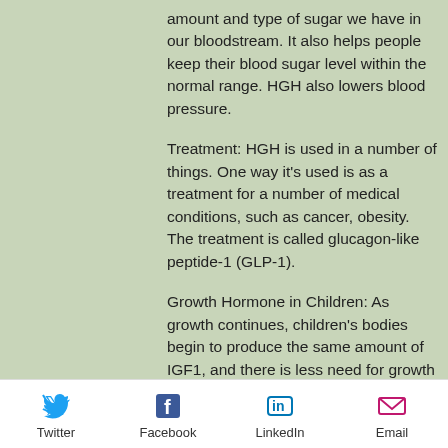amount and type of sugar we have in our bloodstream. It also helps people keep their blood sugar level within the normal range. HGH also lowers blood pressure.
Treatment: HGH is used in a number of things. One way it's used is as a treatment for a number of medical conditions, such as cancer, obesity. The treatment is called glucagon-like peptide-1 (GLP-1).
Growth Hormone in Children: As growth continues, children's bodies begin to produce the same amount of IGF1, and there is less need for growth hormones (GH is required to produce IGF1 if you don't have growth hormone in your system). Children under age 7 are usually treated with GH. Children are also treated with GH for several
Twitter  Facebook  LinkedIn  Email